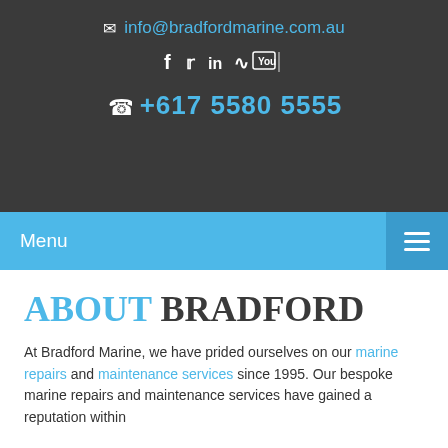info@bradfordmarine.com.au
[Figure (infographic): Social media icons: Facebook, Twitter, LinkedIn, RSS, YouTube]
+617 5580 5555
Menu
ABOUT BRADFORD
At Bradford Marine, we have prided ourselves on our marine repairs and maintenance services since 1995. Our bespoke marine repairs and maintenance services have gained a reputation within